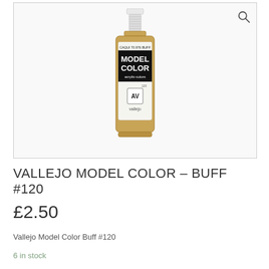[Figure (photo): A Vallejo Model Color acrylic paint bottle in buff/tan color, labeled 'CAQUI 70.976 BUFF', 'MODEL COLOR acrylic-colors', with AV Vallejo logo, number 120, white dropper cap on top.]
VALLEJO MODEL COLOR – BUFF #120
£2.50
Vallejo Model Color Buff #120
6 in stock